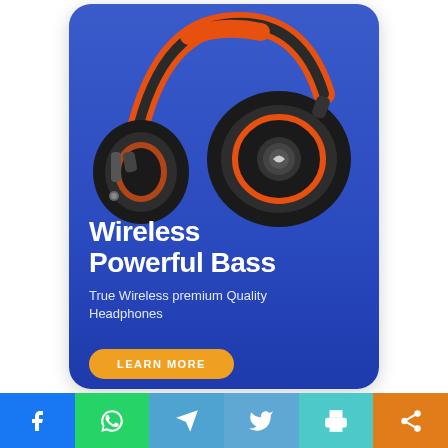[Figure (photo): Wireless headphones with orange and black color scheme on a blue gradient background, showing both ear cups and headband]
Wireless Powerful Bass
True Wireless premium Quality Headphones
LEARN MORE
[Figure (infographic): Social media sharing bar with Facebook, WhatsApp, Telegram, Twitter, Print, and Share icons]